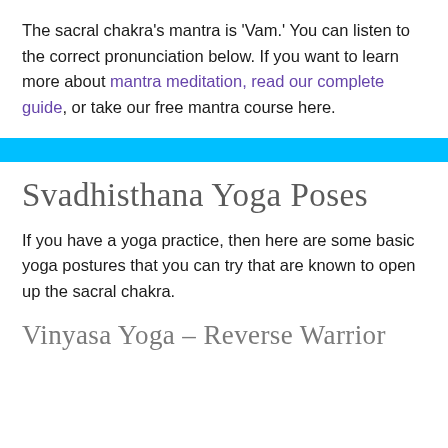The sacral chakra's mantra is 'Vam.' You can listen to the correct pronunciation below. If you want to learn more about mantra meditation, read our complete guide, or take our free mantra course here.
[Figure (other): Solid cyan/blue horizontal bar divider]
Svadhisthana Yoga Poses
If you have a yoga practice, then here are some basic yoga postures that you can try that are known to open up the sacral chakra.
Vinyasa Yoga – Reverse Warrior